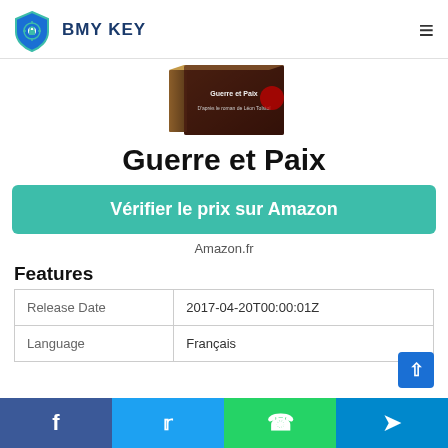BMY KEY
[Figure (photo): Book cover of Guerre et Paix (War and Peace), showing a 3D book with dark background and text 'D'après le roman de Léon Tolstoï']
Guerre et Paix
Vérifier le prix sur Amazon
Amazon.fr
Features
| Field | Value |
| --- | --- |
| Release Date | 2017-04-20T00:00:01Z |
| Language | Français |